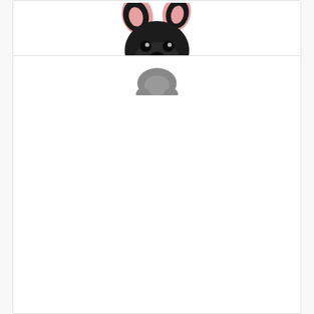[Figure (photo): Black French Bulldog resin figurine statue sitting upright, viewed from slightly above, on white background]
MonLiya Garden Decor High Emulation Resin Creative Cute French Bulldog Garden Statue Crafts Dog Lover Gift Sculpture Patio Lawn Courtyard Home Decoration Animal Figurine Indoor Outdoor (Black Color)
Check price on Amazon
BESTSELLER NO. 4
[Figure (photo): Partial view of another dog figurine at bottom of page]